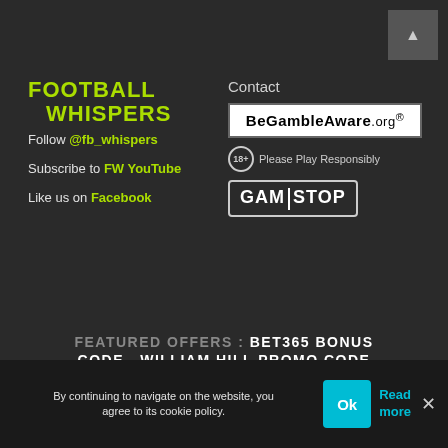[Figure (logo): Football Whispers logo in yellow-green]
Follow @fb_whispers
Subscribe to FW YouTube
Like us on Facebook
Contact
[Figure (logo): BeGambleAware.org logo in white box]
18+ Please Play Responsibly
[Figure (logo): GamStop logo]
FEATURED OFFERS : BET365 BONUS CODE  WILLIAM HILL PROMO CODE  LADBROKES SIGN UP OFFER  BETFAIR SIGN UP OFFER  CORAL SIGN UP OFFER
By continuing to navigate on the website, you agree to its cookie policy.